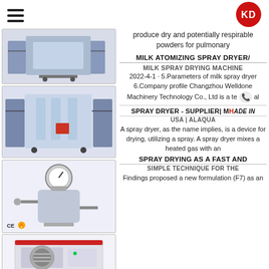KD logo and hamburger menu
[Figure (photo): Industrial spray dryer machine, top image]
[Figure (photo): Industrial spray dryer machine with glass components, middle image]
[Figure (photo): Stainless steel pressure vessel with CE marking, bottom left image]
[Figure (photo): White freeze dryer / vacuum dryer machine, bottom image]
produce dry and potentially respirable powders for pulmonary
MILK ATOMIZING SPRAY DRYER / MILK SPRAY DRYING MACHINE
2022-4-1 · 5.Parameters of milk spray dryer 6.Company profile Changzhou Welldone Machinery Technology Co., Ltd is a te...al
SPRAY DRYER - SUPPLIER | Made in USA | ALAQUA
A spray dryer, as the name implies, is a device for drying, utilizing a spray. A spray dryer mixes a heated gas with an
SPRAY DRYING AS A FAST AND SIMPLE TECHNIQUE FOR THE
Findings proposed a new formulation (F7) as an